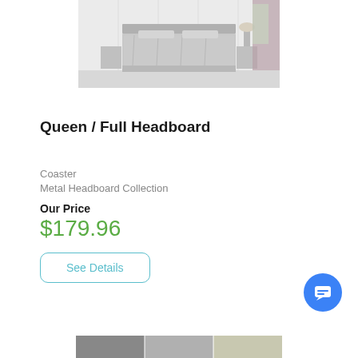[Figure (photo): A bedroom scene showing a bed with light gray/silver bedding and a metal headboard, with nightstands, a lamp, and curtains visible in the background.]
Queen / Full Headboard
Coaster
Metal Headboard Collection
Our Price
$179.96
See Details
[Figure (photo): Thumbnail strip of product variant images at the bottom of the page.]